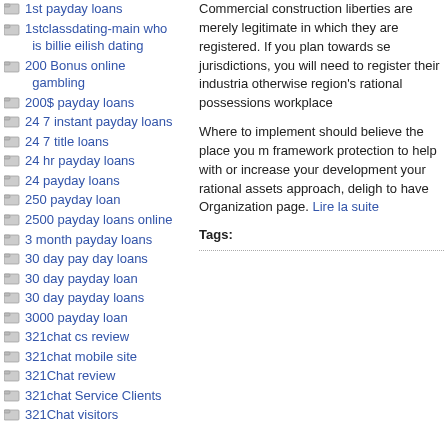1st payday loans
1stclassdating-main who is billie eilish dating
200 Bonus online gambling
200$ payday loans
24 7 instant payday loans
24 7 title loans
24 hr payday loans
24 payday loans
250 payday loan
2500 payday loans online
3 month payday loans
30 day pay day loans
30 day payday loan
30 day payday loans
3000 payday loan
321chat cs review
321chat mobile site
321Chat review
321chat Service Clients
321Chat visitors
Commercial construction liberties are merely legitimate in which they are registered. If you plan towards se jurisdictions, you will need to register their industria otherwise region's rational possessions workplace
Where to implement should believe the place you m framework protection to help with or increase your development your rational assets approach, deligh to have Organization page. Lire la suite
Tags: